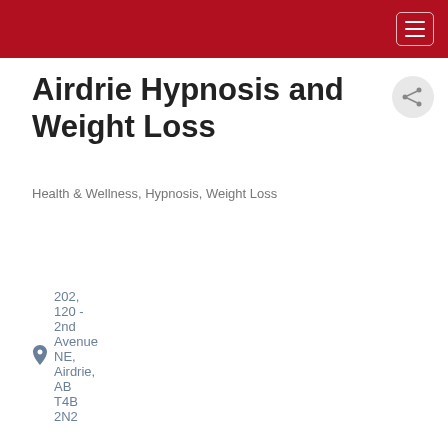Airdrie Hypnosis and Weight Loss
Health & Wellness, Hypnosis, Weight Loss
202, 120 - 2nd Avenue NE, Airdrie, AB T4B 2N2